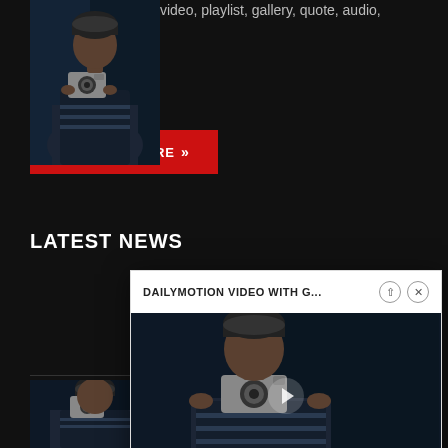including single post video, playlist, gallery, quote, audio, Soundcloud ....
FIND OUT MORE »
LATEST NEWS
[Figure (photo): Person wearing dark beanie and jacket holding a vintage camera, photographed in a dark blue setting - news thumbnail 1]
Kind of blue: Porto's azulejo facades – in pi
[Figure (photo): Person wearing dark beanie and jacket holding a vintage camera, photographed in a dark blue setting - news thumbnail 2]
G... pl
[Figure (screenshot): Popup overlay showing Dailymotion video player with a person holding a camera, with header text 'DAILYMOTION VIDEO WITH G...' and close/expand icons]
DAILYMOTION VIDEO WITH G...